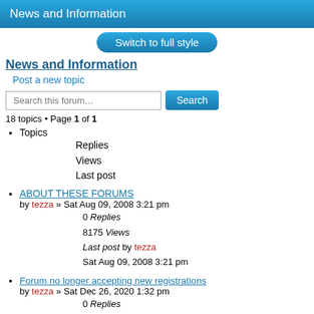News and Information
Switch to full style
News and Information
Post a new topic
Search this forum… Search
18 topics • Page 1 of 1
Topics
Replies
Views
Last post
ABOUT THESE FORUMS
by tezza » Sat Aug 09, 2008 3:21 pm
0 Replies
8175 Views
Last post by tezza
Sat Aug 09, 2008 3:21 pm
Forum no longer accepting new registrations
by tezza » Sat Dec 26, 2020 1:32 pm
0 Replies
9146 Views
Last post by tezza
Sat Dec 26, 2020 1:32 pm